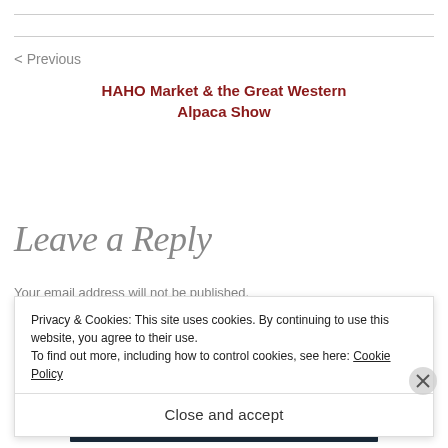< Previous
HAHO Market & the Great Western Alpaca Show
Leave a Reply
Your email address will not be published.
Required fields are marked *
Privacy & Cookies: This site uses cookies. By continuing to use this website, you agree to their use. To find out more, including how to control cookies, see here: Cookie Policy
Close and accept